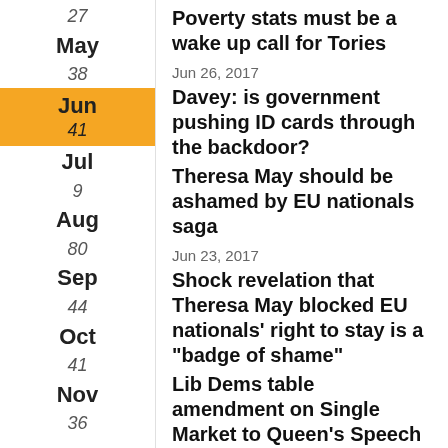27
May
38
Jun
41
Jul
9
Aug
80
Sep
44
Oct
41
Nov
36
Poverty stats must be a wake up call for Tories
Jun 26, 2017
Davey: is government pushing ID cards through the backdoor?
Theresa May should be ashamed by EU nationals saga
Jun 23, 2017
Shock revelation that Theresa May blocked EU nationals' right to stay is a "badge of shame"
Lib Dems table amendment on Single Market to Queen's Speech
Jun 21, 2017